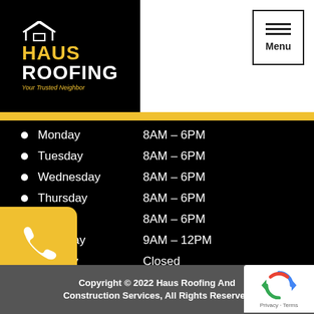[Figure (logo): Haus Roofing logo with house icon, gold and white text on black background, tagline 'Your Trusted Neighbor']
[Figure (other): Menu button with three horizontal lines and 'Menu' text]
Monday   8AM – 6PM
Tuesday   8AM – 6PM
Wednesday   8AM – 6PM
Thursday   8AM – 6PM
Friday   8AM – 6PM
Saturday   9AM – 12PM
Sunday   Closed
[Figure (other): Yellow phone icon button on left side]
Copyright © 2022 Haus Roofing And Construction Services, All Rights Reserved